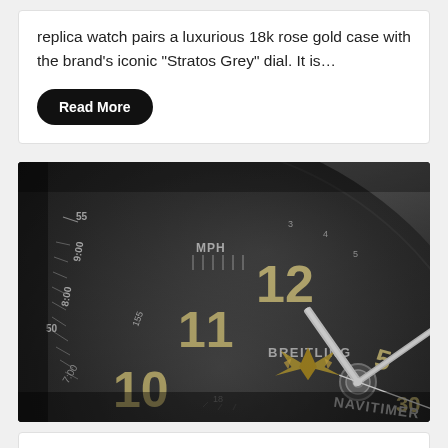replica watch pairs a luxurious 18k rose gold case with the brand's iconic "Stratos Grey" dial. It is…
Read More
[Figure (photo): Close-up macro photograph of a Breitling Navitimer watch dial showing gold hour markers, white hands, chronograph subdials with MPH markings, and the Breitling winged logo in gold. The dial is black with cream/gold numerals including 10, 11, 12 visible, and NAVITIMER text on the lower right.]